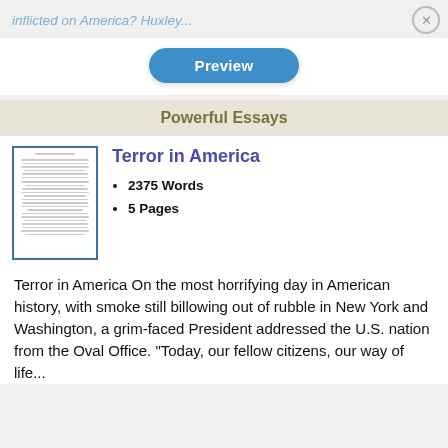inflicted on America? Huxley...
[Figure (screenshot): Preview button (blue rounded rectangle)]
Powerful Essays
[Figure (illustration): Thumbnail preview of essay document with horizontal lines of text]
Terror in America
2375 Words
5 Pages
Terror in America On the most horrifying day in American history, with smoke still billowing out of rubble in New York and Washington, a grim-faced President addressed the U.S. nation from the Oval Office. "Today, our fellow citizens, our way of life...